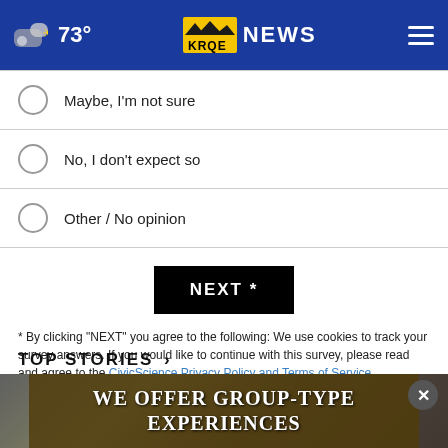73° KRQE NEWS
Maybe, I'm not sure
No, I don't expect so
Other / No opinion
NEXT *
* By clicking "NEXT" you agree to the following: We use cookies to track your survey answers. If you would like to continue with this survey, please read and agree to the CivicScience Privacy Policy and Terms of Service
TOP STORIES ›
[Figure (photo): Advertisement banner over a blurred background image showing 'WE OFFER GROUP-TYPE EXPERIENCES' with a close button]